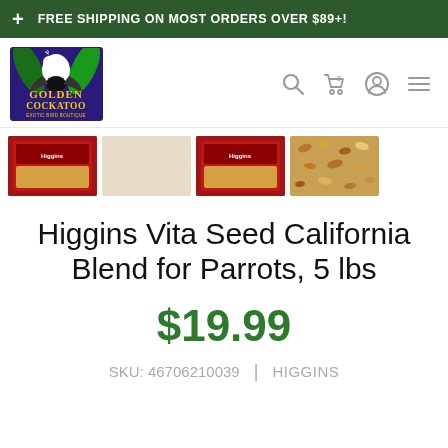+ FREE SHIPPING ON MOST ORDERS OVER $89+!
[Figure (logo): Golden Cockatoo Exotic Bird Boutique logo — colorful parrot and cockatoo on dark purple/blue background with yellow text]
[Figure (photo): Four product thumbnail images: two red Higgins Vita Seed California Blend bag photos, one beige/blank thumbnail, and one closeup of seed mix]
Higgins Vita Seed California Blend for Parrots, 5 lbs
$19.99
SKU: 46706210039 | HIGGINS